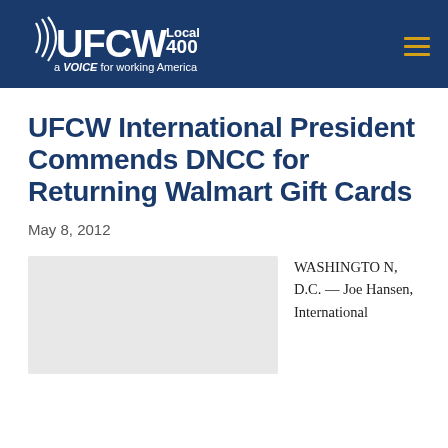UFCW Local 400 — a VOICE for working America
UFCW International President Commends DNCC for Returning Walmart Gift Cards
May 8, 2012
[Figure (photo): Photo placeholder — light gray box representing an article image]
WASHINGTON, D.C. — Joe Hansen, International